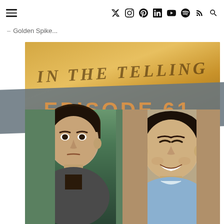Navigation header with hamburger menu and social icons: Twitter, Instagram, Pinterest, LinkedIn, YouTube, Spotify, RSS, Search
Golden Spike...
[Figure (photo): Podcast promotional image for 'In The Telling' podcast. Episode 61 featuring BJ Whimpey Audiobook Narrator. Top portion shows handwritten-style title 'IN THE TELLING' on a golden/warm background. A diagonal gray banner across the middle reads 'EPISODE 61' and 'BJ WHIMPEY AUDIOBOOK NARRATOR' in orange text. Bottom half shows two headshot photos side by side: left person with dark hair looking serious, right person smiling broadly. Both men appear to be middle-aged.]